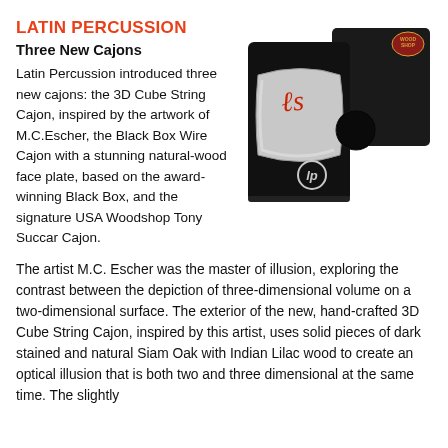LATIN PERCUSSION
Three New Cajons
Latin Percussion introduced three new cajons: the 3D Cube String Cajon, inspired by the artwork of M.C.Escher, the Black Box Wire Cajon with a stunning natural-wood face plate, based on the award-winning Black Box, and the signature USA Woodshop Tony Succar Cajon.
[Figure (photo): Two black cajons (percussion boxes) side by side. The front cajon has a silver/gray decorative face plate with a red cursive signature and a circular sound hole cutout on the right side. The LP logo (circled 'lp') is visible on the front. The rear cajon has a dark surface with a red Woodshop logo badge in the upper right corner.]
The artist M.C. Escher was the master of illusion, exploring the contrast between the depiction of three-dimensional volume on a two-dimensional surface. The exterior of the new, hand-crafted 3D Cube String Cajon, inspired by this artist, uses solid pieces of dark stained and natural Siam Oak with Indian Lilac wood to create an optical illusion that is both two and three dimensional at the same time. The slightly